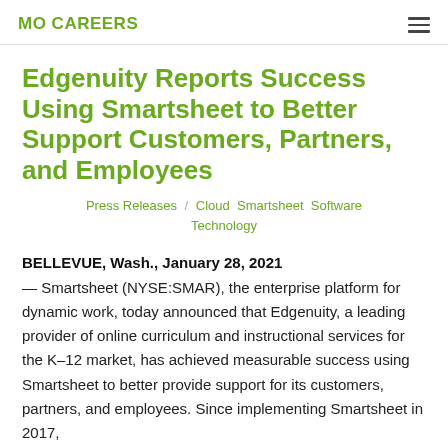MO CAREERS
Edgenuity Reports Success Using Smartsheet to Better Support Customers, Partners, and Employees
Press Releases / Cloud Smartsheet Software Technology
BELLEVUE, Wash., January 28, 2021 — Smartsheet (NYSE:SMAR), the enterprise platform for dynamic work, today announced that Edgenuity, a leading provider of online curriculum and instructional services for the K–12 market, has achieved measurable success using Smartsheet to better provide support for its customers, partners, and employees. Since implementing Smartsheet in 2017,